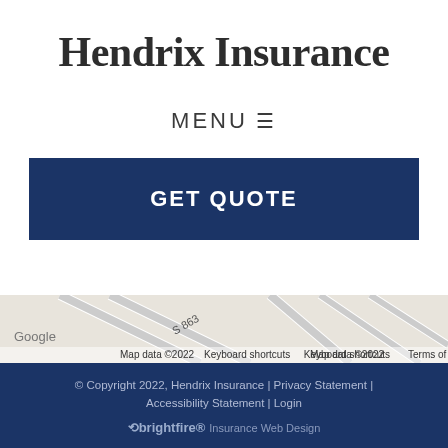Hendrix Insurance
MENU ≡
GET QUOTE
[Figure (map): Google Maps screenshot showing roads near Hendrix Insurance location, with labels: Google, S 863, Keyboard shortcuts, Map data ©2022, Terms of Use]
© Copyright 2022, Hendrix Insurance | Privacy Statement | Accessibility Statement | Login
brightfire Insurance Web Design